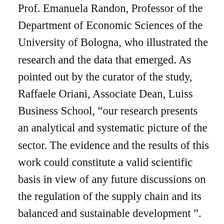Prof. Emanuela Randon, Professor of the Department of Economic Sciences of the University of Bologna, who illustrated the research and the data that emerged. As pointed out by the curator of the study, Raffaele Oriani, Associate Dean, Luiss Business School, “our research presents an analytical and systematic picture of the sector. The evidence and the results of this work could constitute a valid scientific basis in view of any future discussions on the regulation of the supply chain and its balanced and sustainable development ”. In fact, the study shows that 67.7% of the Italian adult population, that is 31,350,000 individuals played some kind of game in 2020. However, an estimated 4.4 million players in illegal channels representing a complex universe, within which individuals with different aptitudes and